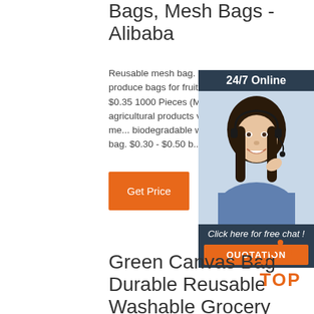Bags, Mesh Bags - Alibaba
Reusable mesh bag. Eco- Friendly Mesh cotton produce bags for fruit and vegetable. $0.25 - $0.35 1000 Pieces (Min. Order) Wh... packing agricultural products vegetables fruits reusable me... biodegradable washable net ... shopping bag. $0.30 - $0.50 b...
[Figure (photo): Customer service representative with headset, 24/7 Online chat advertisement with QUOTATION button]
Get Price
Green Canvas Bag Durable Reusable Washable Grocery
[Figure (other): TOP badge with orange dots arranged in triangle above TOP text]